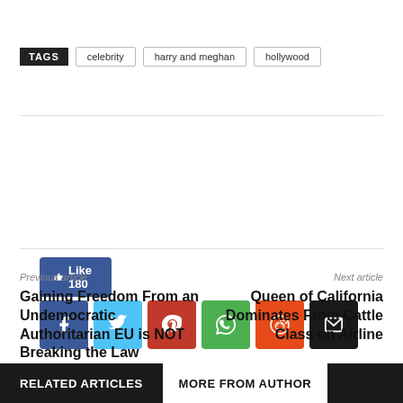TAGS  celebrity  harry and meghan  hollywood
[Figure (infographic): Social share buttons: Like 180 (Facebook like), Facebook, Twitter, Pinterest, WhatsApp, Reddit, Email]
Previous article
Gaining Freedom From an Undemocratic Authoritarian EU is NOT Breaking the Law
Next article
Queen of California Dominates From Cattle Class on Airline
RELATED ARTICLES   MORE FROM AUTHOR